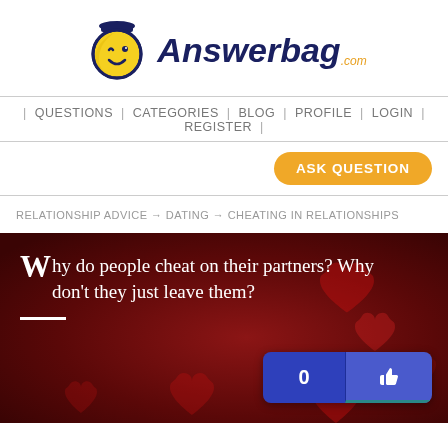[Figure (logo): Answerbag.com logo with smiley face mascot icon and stylized text]
| QUESTIONS | CATEGORIES | BLOG | PROFILE | LOGIN | REGISTER |
ASK QUESTION
RELATIONSHIP ADVICE → DATING → CHEATING IN RELATIONSHIPS
Why do people cheat on their partners? Why don't they just leave them?